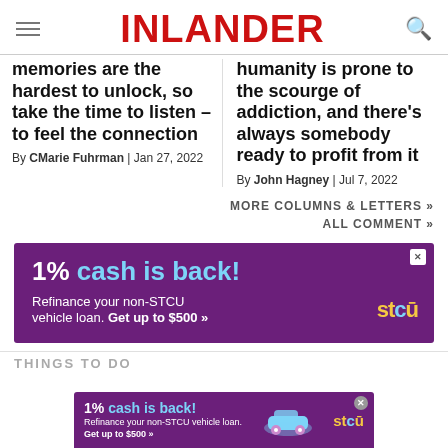INLANDER
memories are the hardest to unlock, so take the time to listen – to feel the connection
By CMarie Fuhrman | Jan 27, 2022
humanity is prone to the scourge of addiction, and there's always somebody ready to profit from it
By John Hagney | Jul 7, 2022
MORE COLUMNS & LETTERS »
ALL COMMENT »
[Figure (other): STCU advertisement banner: '1% cash is back! Refinance your non-STCU vehicle loan. Get up to $500 »' on purple background with STCU logo]
THINGS TO DO
[Figure (other): STCU bottom advertisement banner: '1% cash is back! Refinance your non-STCU vehicle loan. Get up to $500 »' with car illustration on purple background]